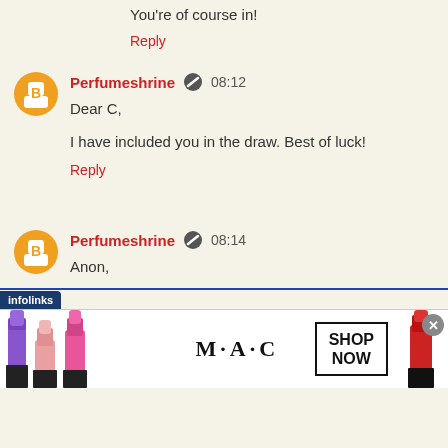You're of course in!
Reply
Perfumeshrine 08:12
Dear C,

I have included you in the draw. Best of luck!
Reply
Perfumeshrine 08:14
Anon,

the perfect gardenia is a quest indeed. You're in!
[Figure (screenshot): MAC cosmetics advertisement banner showing lipsticks and 'SHOP NOW' button with infolinks label]